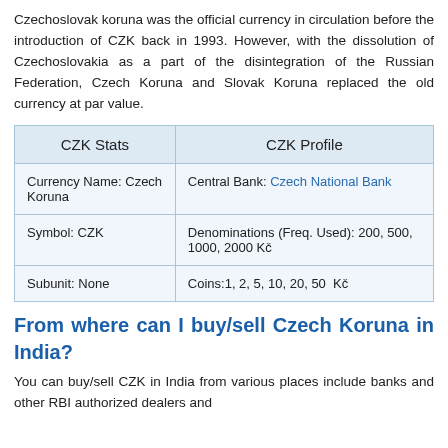Czechoslovak koruna was the official currency in circulation before the introduction of CZK back in 1993. However, with the dissolution of Czechoslovakia as a part of the disintegration of the Russian Federation, Czech Koruna and Slovak Koruna replaced the old currency at par value.
| CZK Stats | CZK Profile |
| --- | --- |
| Currency Name: Czech Koruna | Central Bank: Czech National Bank |
| Symbol: CZK | Denominations (Freq. Used): 200, 500, 1000, 2000 Kč |
| Subunit: None | Coins:1, 2, 5, 10, 20, 50  Kč |
From where can I buy/sell Czech Koruna in India?
You can buy/sell CZK in India from various places include banks and other RBI authorized dealers and...